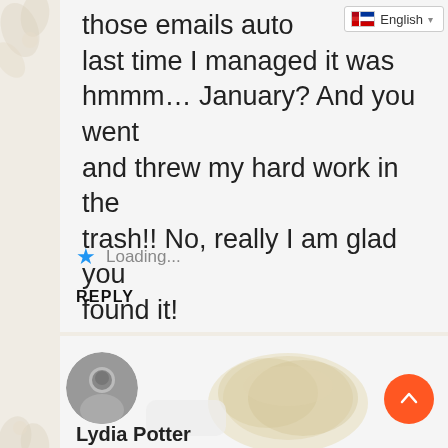[Figure (screenshot): Language selector dropdown showing English with flag icon]
those emails auto... last time I managed it was hmmm... January? And you went and threw my hard work in the trash!! No, really I am glad you found it!
Loading...
REPLY
[Figure (photo): Circular avatar photo of a person in black and white]
[Figure (photo): Sandy or granular heart-shaped decorative element]
Lydia Potter